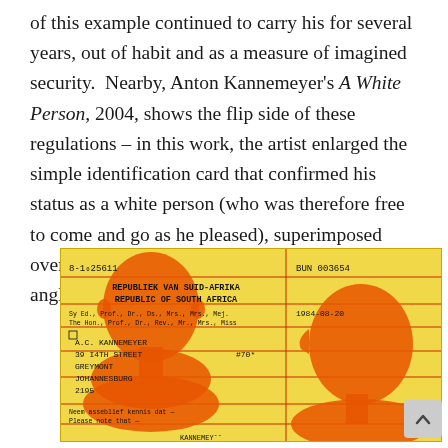of this example continued to carry his for several years, out of habit and as a measure of imagined security. Nearby, Anton Kannemeyer's A White Person, 2004, shows the flip side of these regulations – in this work, the artist enlarged the simple identification card that confirmed his status as a white person (who was therefore free to come and go as he pleased), superimposed over three photographs of his head at different angles that resemble mug shots.
[Figure (photo): Artwork by Anton Kannemeyer titled 'A White Person', 2004. An enlarged South African identification card (Republic of South Africa / Republiek van Suid-Afrika) with number 8-1025611, BUN 003654, dated 1984-08-20, belonging to A.C. Kannemeyer, 39 14th Street, Greymont, Johannesburg, 2195. Superimposed over orange-tinted photographs of a head at different angles resembling mug shots.]